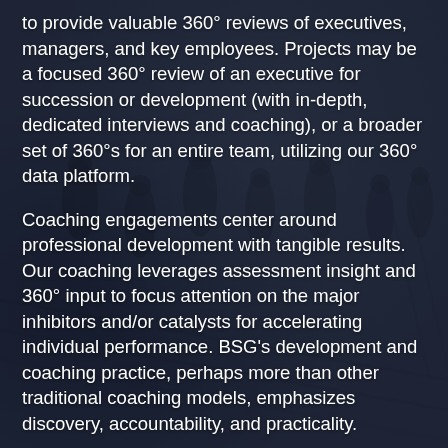to provide valuable 360° reviews of executives, managers, and key employees. Projects may be a focused 360° review of an executive for succession or development (with in-depth, dedicated interviews and coaching), or a broader set of 360°s for an entire team, utilizing our 360° data platform.
Coaching engagements center around professional development with tangible results. Our coaching leverages assessment insight and 360° input to focus attention on the major inhibitors and/or catalysts for accelerating individual performance. BSG's development and coaching practice, perhaps more than other traditional coaching models, emphasizes discovery, accountability, and practicality.